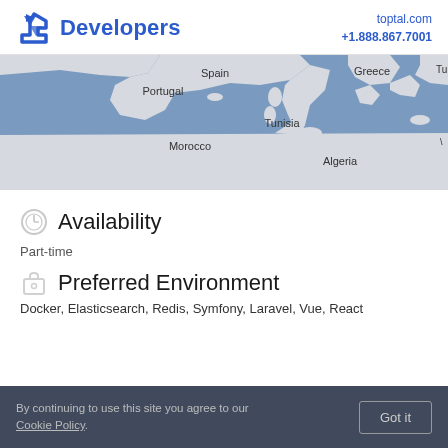Developers | toptal.com +1.888.867.7001
[Figure (map): Geographic map showing the Mediterranean region including Spain, Portugal, Morocco, Tunisia, Algeria, Greece, and Turkey]
Availability
Part-time
Preferred Environment
Docker, Elasticsearch, Redis, Symfony, Laravel, Vue, React
By continuing to use this site you agree to our Cookie Policy.